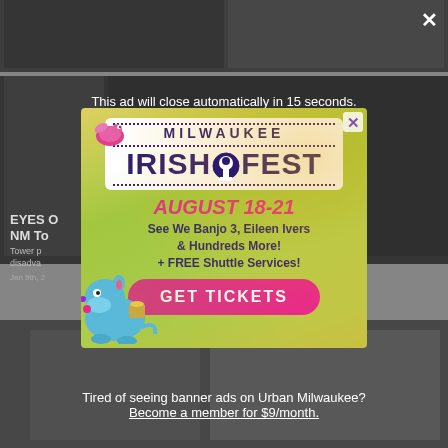[Figure (screenshot): Website background showing article images and text, partially obscured by ad overlay]
This ad will close automatically in 15 seconds.
[Figure (illustration): Milwaukee Irish Fest advertisement banner. Shows festival logo with 'MILWAUKEE IRISH FEST', dates 'AUGUST 18-21', text 'See We Banjo 3, Eileen Ivers & Hundreds More! + FREE Shuttle Services!', and a pink 'GET TICKETS' button. Features a cartoon hippo and bird illustration. Background is yellow-green gradient.]
Tired of seeing banner ads on Urban Milwaukee?
Become a member for $9/month.